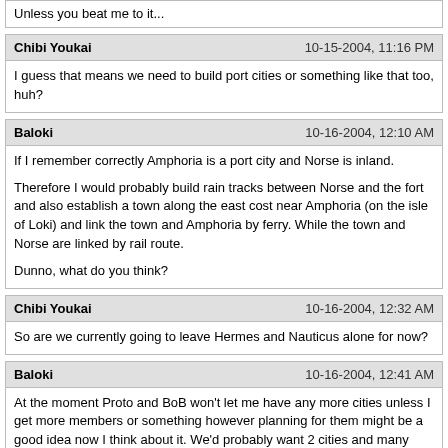Unless you beat me to it...
Chibi Youkai	10-15-2004, 11:16 PM
I guess that means we need to build port cities or something like that too, huh?
Baloki	10-16-2004, 12:10 AM
If I remember correctly Amphoria is a port city and Norse is inland.

Therefore I would probably build rain tracks between Norse and the fort and also establish a town along the east cost near Amphoria (on the isle of Loki) and link the town and Amphoria by ferry. While the town and Norse are linked by rail route.

Dunno, what do you think?
Chibi Youkai	10-16-2004, 12:32 AM
So are we currently going to leave Hermes and Nauticus alone for now?
Baloki	10-16-2004, 12:41 AM
At the moment Proto and BoB won't let me have any more cities unless I get more members or something however planning for them might be a good idea now I think about it. We'd probably want 2 cities and many towns in Nauticus and leave Hermes with just a town I think.

Not sure...
FightClubFan#47	10-16-2004, 12:44 AM
You got a updated map of Aura and LNA???